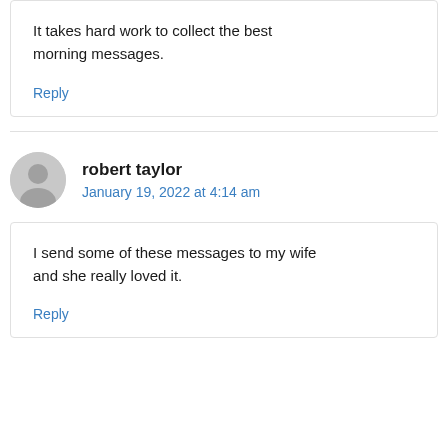It takes hard work to collect the best morning messages.
Reply
robert taylor
January 19, 2022 at 4:14 am
I send some of these messages to my wife and she really loved it.
Reply